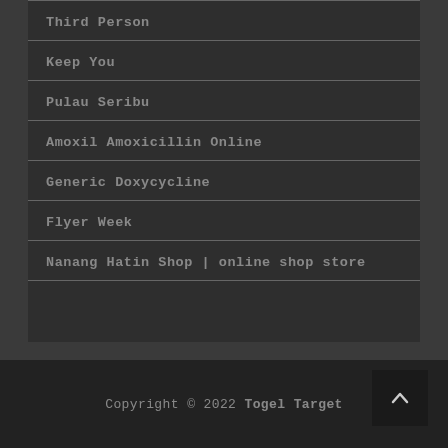Third Person
Keep You
Pulau Seribu
Amoxil Amoxicillin Online
Generic Doxycycline
Flyer Week
Nanang Hatin Shop | online shop store
Copyright © 2022 Togel Target